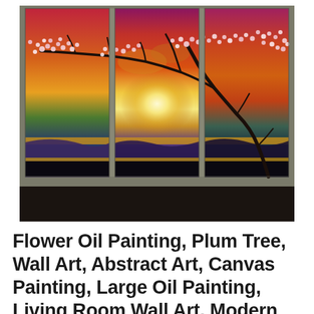[Figure (photo): A triptych canvas oil painting displayed on a wall. The three-panel artwork depicts a dramatic sunset landscape with swirling clouds in red, orange, gold, and purple tones. A cherry blossom or plum tree with white flowers arches across the panels from left to right. The lower portion shows layered rolling hills in dark blues, purples, and gold. The three separate canvas panels are mounted on a gray wall with dark floor visible below.]
Flower Oil Painting, Plum Tree, Wall Art, Abstract Art, Canvas Painting, Large Oil Painting, Living Room Wall Art, Modern Art, 3 Piece Wall